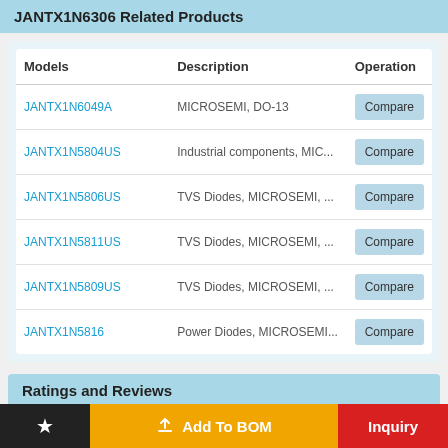JANTX1N6306 Related Products
| Models | Description | Operation |
| --- | --- | --- |
| JANTX1N6049A | MICROSEMI, DO-13 | Compare |
| JANTX1N5804US | Industrial components, MIC... | Compare |
| JANTX1N5806US | TVS Diodes, MICROSEMI, ... | Compare |
| JANTX1N5811US | TVS Diodes, MICROSEMI, ... | Compare |
| JANTX1N5809US | TVS Diodes, MICROSEMI, ... | Compare |
| JANTX1N5816 | Power Diodes, MICROSEMI... | Compare |
Ratings and Reviews
★  Add To BOM  Inquiry